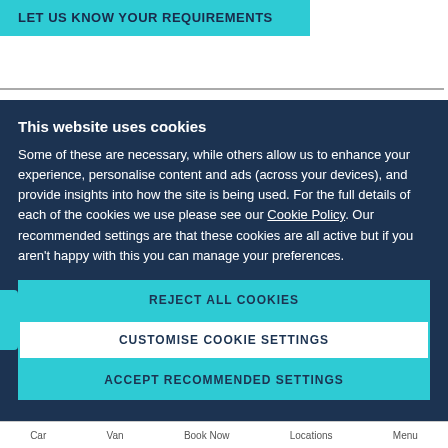LET US KNOW YOUR REQUIREMENTS
This website uses cookies
Some of these are necessary, while others allow us to enhance your experience, personalise content and ads (across your devices), and provide insights into how the site is being used. For the full details of each of the cookies we use please see our Cookie Policy. Our recommended settings are that these cookies are all active but if you aren't happy with this you can manage your preferences.
REJECT ALL COOKIES
CUSTOMISE COOKIE SETTINGS
ACCEPT RECOMMENDED SETTINGS
Car   Van   Book Now   Locations   Menu